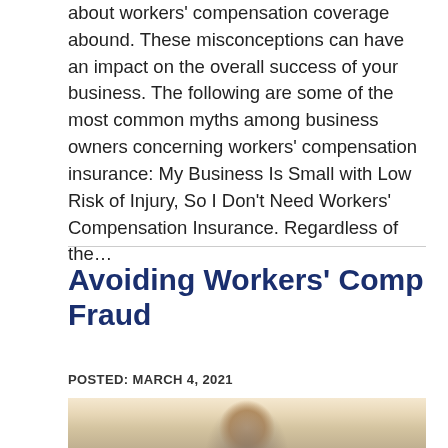about workers' compensation coverage abound. These misconceptions can have an impact on the overall success of your business. The following are some of the most common myths among business owners concerning workers' compensation insurance: My Business Is Small with Low Risk of Injury, So I Don't Need Workers' Compensation Insurance. Regardless of the…
Avoiding Workers' Comp Fraud
POSTED: MARCH 4, 2021
[Figure (photo): Photo of a man in a plaid shirt, appearing to be in a warehouse or work environment, with warm lighting in the background.]